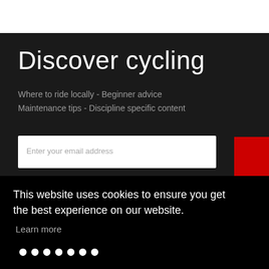Discover cycling
Where to ride locally - Beginner advice
Maintenance tips - Discipline specific content
This website uses cookies to ensure you get the best experience on our website.
Learn more
Got it!